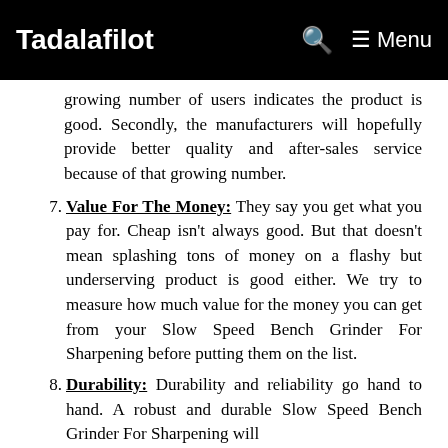Tadalafilot   🔍   ☰ Menu
growing number of users indicates the product is good. Secondly, the manufacturers will hopefully provide better quality and after-sales service because of that growing number.
7. Value For The Money: They say you get what you pay for. Cheap isn't always good. But that doesn't mean splashing tons of money on a flashy but underserving product is good either. We try to measure how much value for the money you can get from your Slow Speed Bench Grinder For Sharpening before putting them on the list.
8. Durability: Durability and reliability go hand to hand. A robust and durable Slow Speed Bench Grinder For Sharpening will